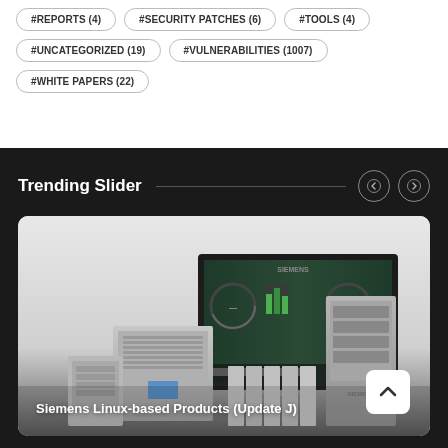#REPORTS (4)
#SECURITY PATCHES (6)
#TOOLS (4)
#UNCATEGORIZED (19)
#VULNERABILITIES (1007)
#WHITE PAPERS (22)
Trending Slider
[Figure (photo): Siemens Linux-based industrial control products including PLC hardware units and a monitor displaying SCADA/HMI interface]
Siemens Linux-based Products (Update J)